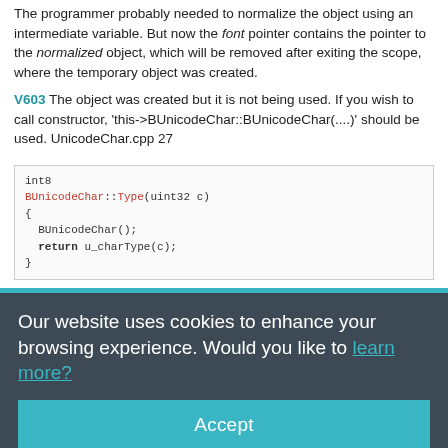The programmer probably needed to normalize the object using an intermediate variable. But now the font pointer contains the pointer to the normalized object, which will be removed after exiting the scope, where the temporary object was created.
V603 The object was created but it is not being used. If you wish to call constructor, 'this->BUnicodeChar::BUnicodeChar(....)' should be used. UnicodeChar.cpp 27
[Figure (screenshot): Code block showing C++ function: int8 BUnicodeChar::Type(uint32 c) { BUnicodeChar(); return u_charType(c); }]
Our website uses cookies to enhance your browsing experience. Would you like to learn more?
Accept